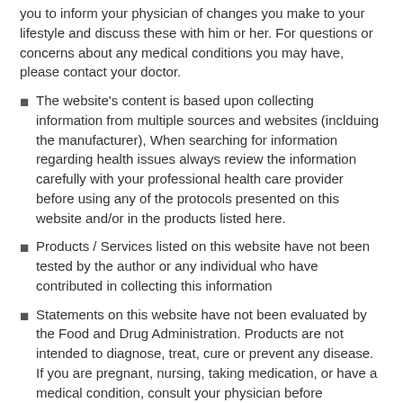you to inform your physician of changes you make to your lifestyle and discuss these with him or her. For questions or concerns about any medical conditions you may have, please contact your doctor.
The website's content is based upon collecting information from multiple sources and websites (inclduing the manufacturer), When searching for information regarding health issues always review the information carefully with your professional health care provider before using any of the protocols presented on this website and/or in the products listed here.
Products / Services listed on this website have not been tested by the author or any individual who have contributed in collecting this information
Statements on this website have not been evaluated by the Food and Drug Administration. Products are not intended to diagnose, treat, cure or prevent any disease. If you are pregnant, nursing, taking medication, or have a medical condition, consult your physician before consuming any supplement.
For more information about the product/service, you can contact the